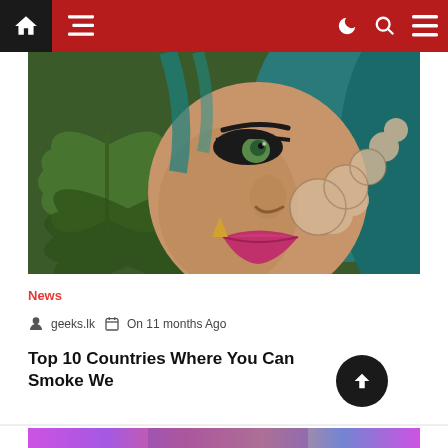Navigation bar with home, menu, moon, search, and hamburger icons
[Figure (illustration): Pop-art style illustration of a woman with teal/green hair and bold makeup exhaling smoke, surrounded by cannabis leaves background]
News
geeks.lk   On 11 months Ago
Top 10 Countries Where You Can Smoke We...